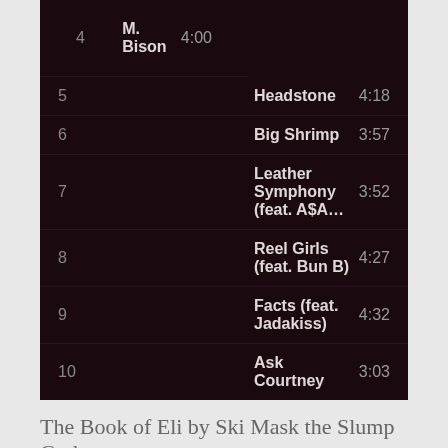| # | Title | Duration |
| --- | --- | --- |
| 4 | M. Bison | 4:00 |
| 5 | Headstone | 4:18 |
| 6 | Big Shrimp | 3:57 |
| 7 | Leather Symphony (feat. A$A… | 3:52 |
| 8 | Reel Girls (feat. Bun B) | 4:27 |
| 9 | Facts (feat. Jadakiss) | 4:32 |
| 10 | Ask Courtney | 3:03 |
The Book of Eli by Ski Mask the Slump God,
[Figure (screenshot): SoundCloud embed player showing an album with a book cover image (BEWARE POOR ELI), play button, waveform, timestamp 2:46, and 'Play on SoundCloud' orange button. Bottom row shows 'LOST SOULS (feat...' with 'Listen in browser' button.]